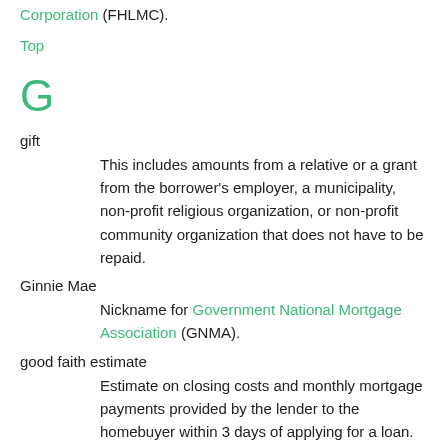Corporation (FHLMC).
Top
G
gift
This includes amounts from a relative or a grant from the borrower's employer, a municipality, non-profit religious organization, or non-profit community organization that does not have to be repaid.
Ginnie Mae
Nickname for Government National Mortgage Association (GNMA).
good faith estimate
Estimate on closing costs and monthly mortgage payments provided by the lender to the homebuyer within 3 days of applying for a loan.
Government National Mortgage Association (GNMA or Ginnie